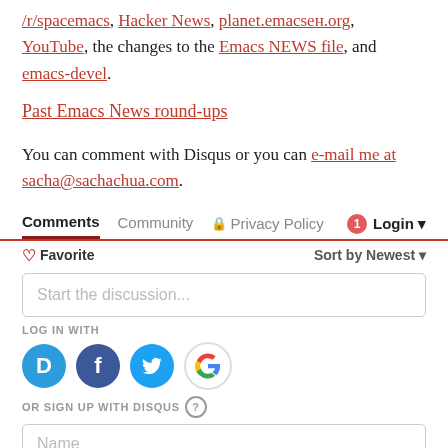/r/spacemacs, Hacker News, planet.emacsen.org, YouTube, the changes to the Emacs NEWS file, and emacs-devel.
Past Emacs News round-ups
You can comment with Disqus or you can e-mail me at sacha@sachachua.com.
Comments  Community  Privacy Policy  1  Login
Favorite   Sort by Newest
Start the discussion...
LOG IN WITH
[Figure (infographic): Social login icons: Disqus (D), Facebook (f), Twitter (bird), Google (G)]
OR SIGN UP WITH DISQUS (?)
Name